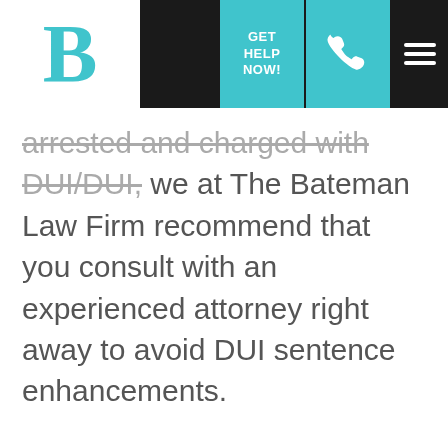B | GET HELP NOW! [phone icon] [menu icon]
arrested and charged with DUI/DUI, we at The Bateman Law Firm recommend that you consult with an experienced attorney right away to avoid DUI sentence enhancements.